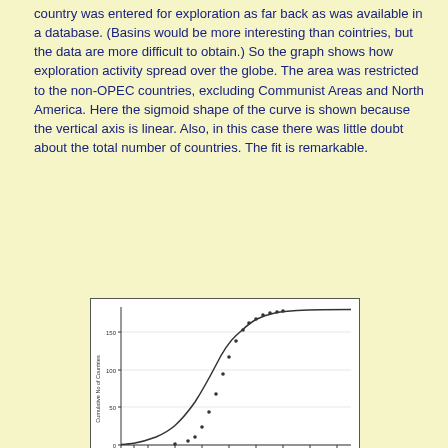country was entered for exploration as far back as was available in a database. (Basins would be more interesting than cointries, but the data are more difficult to obtain.) So the graph shows how exploration activity spread over the globe. The area was restricted to the non-OPEC countries, excluding Communist Areas and North America. Here the sigmoid shape of the curve is shown because the vertical axis is linear. Also, in this case there was little doubt about the total number of countries. The fit is remarkable.
[Figure (continuous-plot): Sigmoid curve chart titled 'WOCAMP NON-OPEC EXPLORATION: SPREAD OVER COUNTRIES vs YEAR'. X-axis shows years from approximately 1860 to 2030. Y-axis shows Cumulative No of Countries from 0 to 150. The curve shows an S-shaped (sigmoid) growth pattern with data points matching the fitted curve closely.]